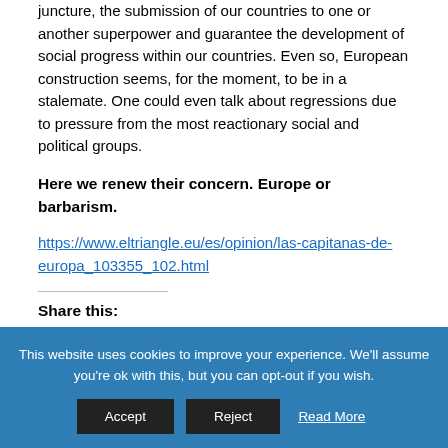juncture, the submission of our countries to one or another superpower and guarantee the development of social progress within our countries. Even so, European construction seems, for the moment, to be in a stalemate. One could even talk about regressions due to pressure from the most reactionary social and political groups.
Here we renew their concern. Europe or barbarism.
https://www.eltriangle.eu/es/opinion/las-capitanas-de-europa_103355_102.html
Share this:
[Figure (infographic): Five social media share icons in circles: Twitter (blue), Facebook (dark blue), LinkedIn (dark blue), WhatsApp (green), Skype (light blue)]
THE VENTOTENE MANIFESTO
This website uses cookies to improve your experience. We'll assume you're ok with this, but you can opt-out if you wish. Accept Reject Read More